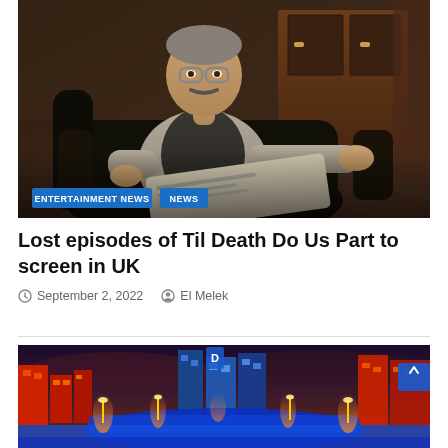[Figure (photo): An older man with glasses and a moustache sitting in a dark armchair, wearing a grey shirt and dark vest, holding a newspaper. Background shows a room with a wooden dresser. Labels 'ENTERTAINMENT NEWS' and 'NEWS' appear as blue badges at the bottom of the image.]
Lost episodes of Til Death Do Us Part to screen in UK
September 2, 2022   El Melek
[Figure (photo): A dramatic night scene of a colorful futuristic or animated cityscape with bright lights, tall buildings, and a stadium-like venue in the foreground, with a vivid blue and orange color scheme.]